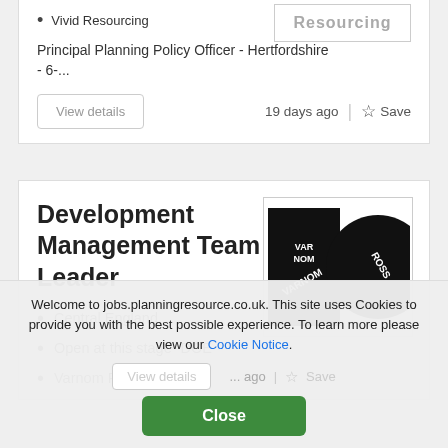Vivid Resourcing
Principal Planning Policy Officer - Hertfordshire - 6-...
View details
19 days ago | ☆ Save
Development Management Team Leader
Central England
Open at this stage- DOE
Varnom Ross
[Figure (logo): Varnom Ross logo - black square with VARNOM text and black circle with ROSS text]
Welcome to jobs.planningresource.co.uk. This site uses Cookies to provide you with the best possible experience. To learn more please view our Cookie Notice.
Close